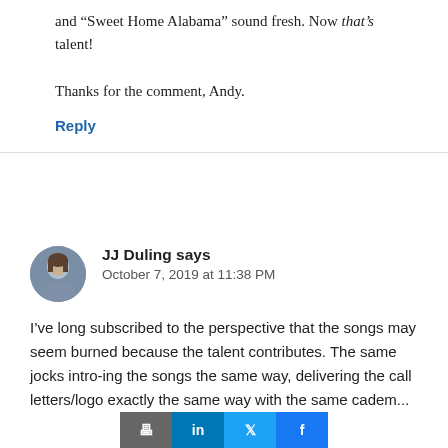and “Sweet Home Alabama” sound fresh. Now that’s talent!
Thanks for the comment, Andy.
Reply
JJ Duling says
October 7, 2019 at 11:38 PM
I’ve long subscribed to the perspective that the songs may seem burned because the talent contributes. The same jocks intro-ing the songs the same way, delivering the call letters/logo exactly the same way with the same cadence...the same way